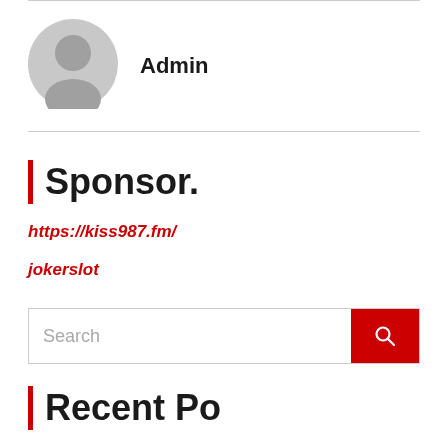[Figure (illustration): Circular grey avatar/profile icon for Admin user]
Admin
| Sponsor.
https://kiss987.fm/
jokerslot
Search
| Recent Po...